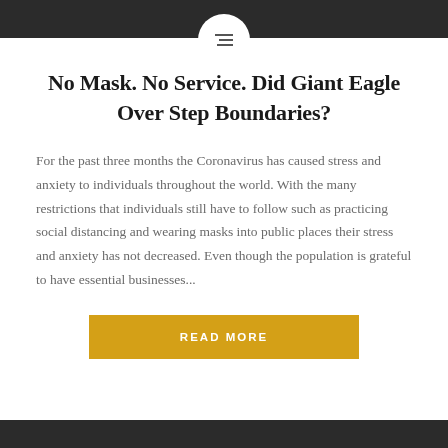No Mask. No Service. Did Giant Eagle Over Step Boundaries?
For the past three months the Coronavirus has caused stress and anxiety to individuals throughout the world. With the many restrictions that individuals still have to follow such as practicing social distancing and wearing masks into public places their stress and anxiety has not decreased. Even though the population is grateful to have essential businesses...
READ MORE